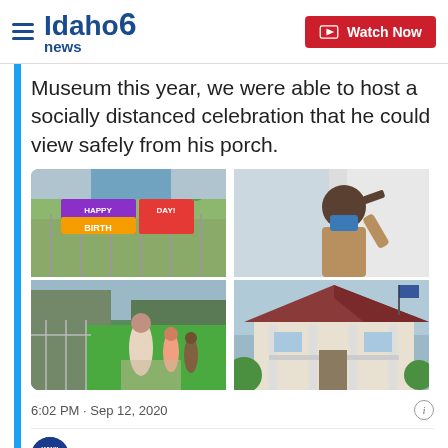Idaho news6 — Watch Now
Museum this year, we were able to host a socially distanced celebration that he could view safely from his porch.
[Figure (photo): 4-photo grid: top-left shows Happy Birthday sign on fence with balloons; top-right shows elderly Black man wearing mask tipping hat; bottom-left shows street scene with people gathered; bottom-right shows porch/house exterior view]
6:02 PM · Sep 12, 2020
Read the full conversation on Twitter
367  Reply  Copy link